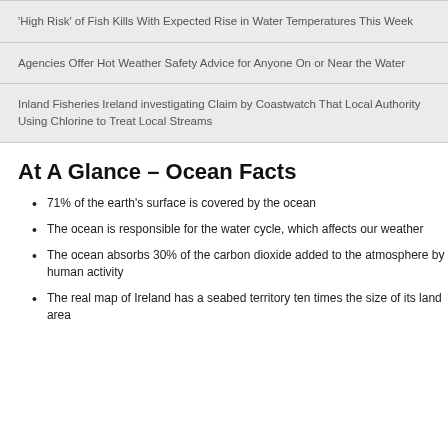'High Risk' of Fish Kills With Expected Rise in Water Temperatures This Week
Agencies Offer Hot Weather Safety Advice for Anyone On or Near the Water
Inland Fisheries Ireland investigating Claim by Coastwatch That Local Authority Using Chlorine to Treat Local Streams
At A Glance – Ocean Facts
71% of the earth's surface is covered by the ocean
The ocean is responsible for the water cycle, which affects our weather
The ocean absorbs 30% of the carbon dioxide added to the atmosphere by human activity
The real map of Ireland has a seabed territory ten times the size of its land area